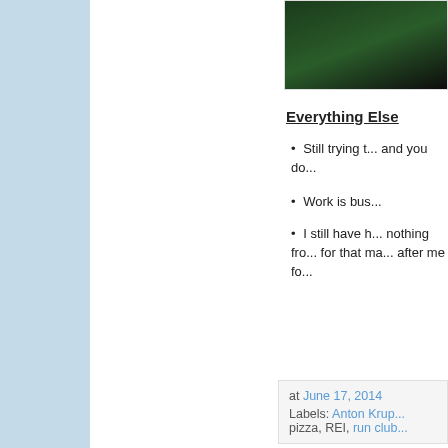[Figure (photo): Dark green/black outdoor photo, partially visible in top-right corner]
Everything Else
Still trying t... and you do...
Work is bus...
I still have h... nothing fro... for that ma... after me fo...
at June 17, 2014
Labels: Anton Krup... pizza, REI, run club...
Wednesday, June 1
Week in R
Tuesday - A got... workers. I had pl...